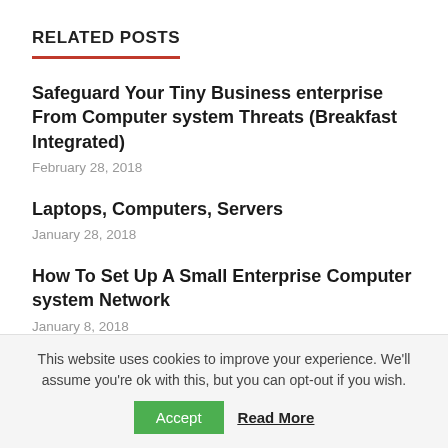RELATED POSTS
Safeguard Your Tiny Business enterprise From Computer system Threats (Breakfast Integrated)
February 28, 2018
Laptops, Computers, Servers
January 28, 2018
How To Set Up A Small Enterprise Computer system Network
January 8, 2018
This website uses cookies to improve your experience. We'll assume you're ok with this, but you can opt-out if you wish.
Accept   Read More